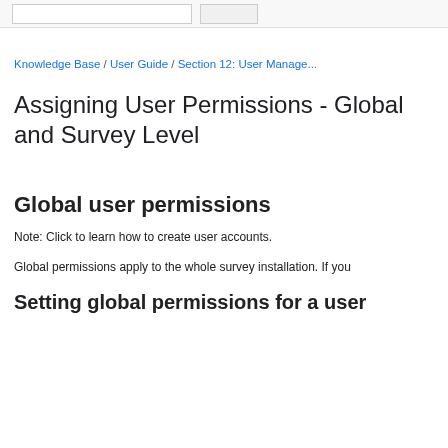Knowledge Base / User Guide / Section 12: User Manage...
Assigning User Permissions - Global and Survey Level
Global user permissions
Note: Click to learn how to create user accounts.
Global permissions apply to the whole survey installation. If you
Setting global permissions for a user